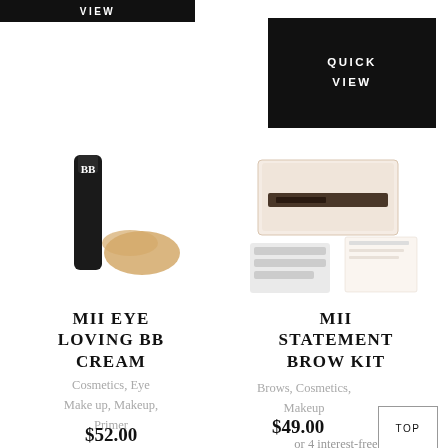[Figure (screenshot): Top left black bar showing 'VIEW' button]
[Figure (screenshot): Top right black box showing 'QUICK VIEW' button]
[Figure (photo): MII Eye Loving BB Cream product photo - black tube with cream swatch]
[Figure (photo): MII Statement Brow Kit product photo - kit with templates]
MII EYE LOVING BB CREAM
MII STATEMENT BROW KIT
Cosmetics, Eye Make up, Makeup, Primer
Brows, Cosmetics, Makeup
$52.00
$49.00
TOP
or 4 interest-free